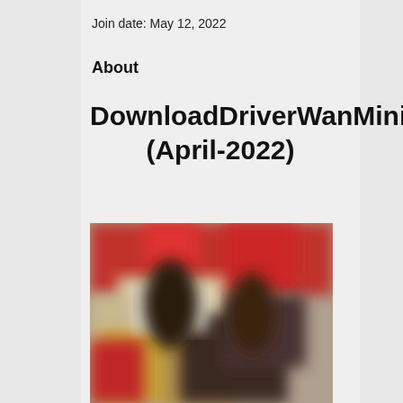Join date: May 12, 2022
About
DownloadDriverWanMiniportIpx2 (April-2022)
[Figure (photo): Blurred photograph showing a crowded scene with red and golden tones, appears to be a blurred event or crowd photo]